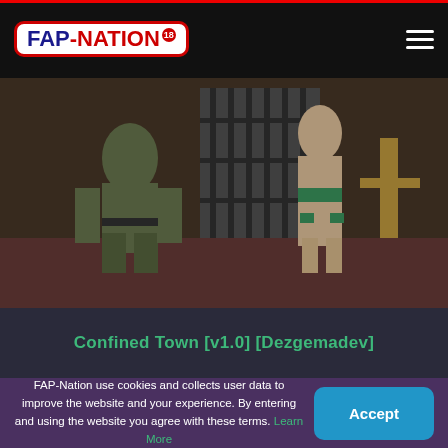FAP-NATION 18
[Figure (photo): Game screenshot showing two characters in a room with a barred window, one in military-style clothing and one in minimal clothing]
Confined Town [v1.0] [Dezgemadev]
FAP-Nation use cookies and collects user data to improve the website and your experience. By entering and using the website you agree with these terms. Learn More